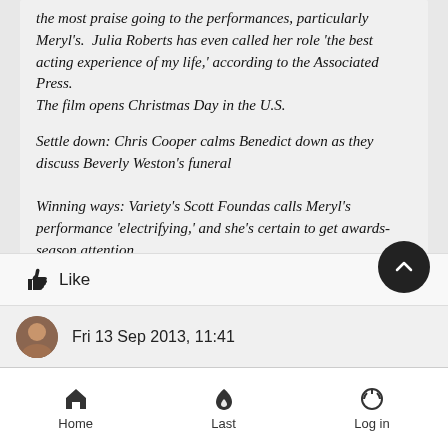the most praise going to the performances, particularly Meryl's. Julia Roberts has even called her role 'the best acting experience of my life,' according to the Associated Press.
The film opens Christmas Day in the U.S.
Settle down: Chris Cooper calms Benedict down as they discuss Beverly Weston's funeral
Winning ways: Variety's Scott Foundas calls Meryl's performance 'electrifying,' and she's certain to get awards-season attention
Like
Fri 13 Sep 2013, 11:41
Home  Last  Log in